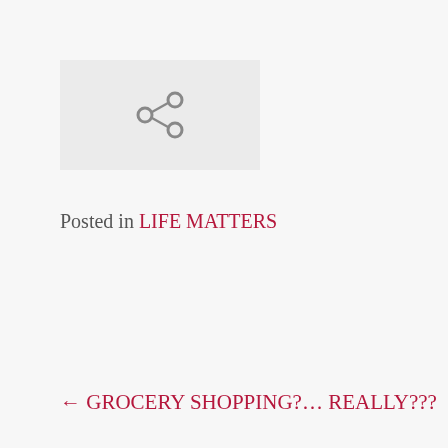[Figure (illustration): Share/link icon on a light gray background box]
Posted in LIFE MATTERS
← GROCERY SHOPPING?... REALLY???
Privacy & Cookies: This site uses cookies. By continuing to use this website, you agree to their use.
To find out more, including how to control cookies, see here: Cookie Policy
Close and accept